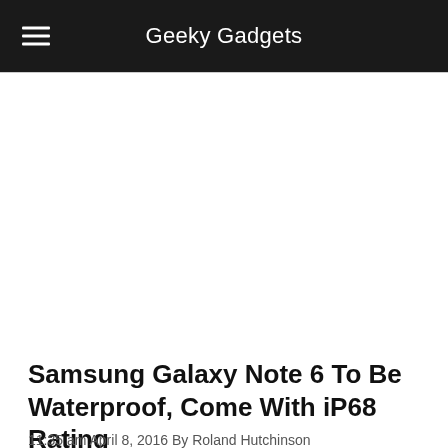Geeky Gadgets
Samsung Galaxy Note 6 To Be Waterproof, Come With iP68 Rating
11:35 am April 8, 2016 By Roland Hutchinson